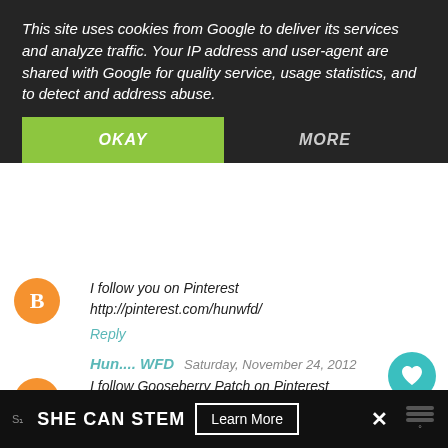This site uses cookies from Google to deliver its services and analyze traffic. Your IP address and user-agent are shared with Google for quality service, usage statistics, and to detect and address abuse.
OKAY
MORE
I follow you on Pinterest http://pinterest.com/hunwfd/
Reply
Hun.... WFD  Saturday, November 24, 2012
I follow Gooseberry Patch on Pinterest http://pinterest.com/hunwfd/
Reply
1
WHAT'S NEXT → Lemonade
Hun... WFD  Saturday, November 24, 2012
SHE CAN STEM  Learn More